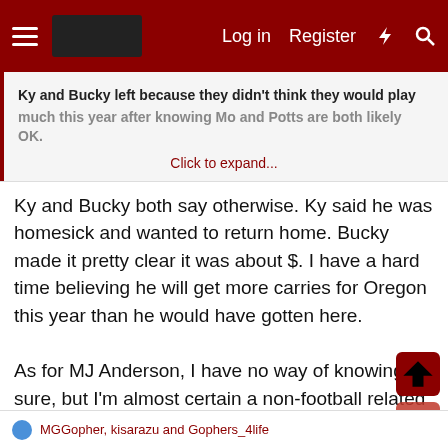Log in  Register
Ky and Bucky left because they didn't think they would play much this year after knowing Mo and Potts are both likely OK.
Click to expand...
Ky and Bucky both say otherwise. Ky said he was homesick and wanted to return home. Bucky made it pretty clear it was about $. I have a hard time believing he will get more carries for Oregon this year than he would have gotten here.

As for MJ Anderson, I have no way of knowing for sure, but I'm almost certain a non-football related thing happened. He was already playing a ton and it was in the middle of Badger week. That's bizarre timing. It also happened within days of Cheney leaving. I have no way of knowing and I shouldn't ever find out for sure, but I think all signs point to the fact that there was something outside of football.
MGGopher, kisarazu and Gophers_4life